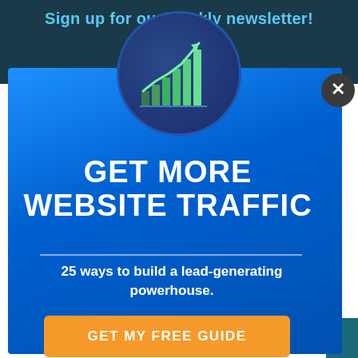Sign up for our weekly newsletter!
[Figure (illustration): Bar chart with upward arrow inside a dark blue circle, representing website traffic growth]
GET MORE WEBSITE TRAFFIC
25 ways to build a lead-generating powerhouse.
GET MY FREE GUIDE